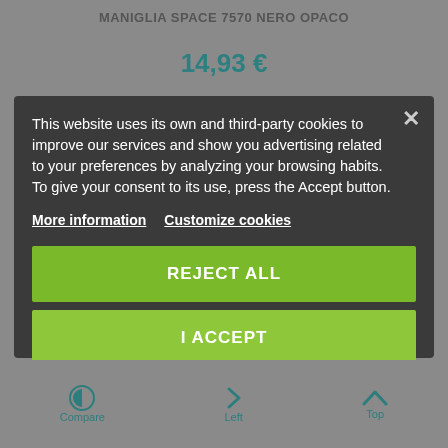MANIGLIA SPACE 7570 NERO OPACO
14,93 €
This website uses its own and third-party cookies to improve our services and show you advertising related to your preferences by analyzing your browsing habits. To give your consent to its use, press the Accept button.
More information  Customize cookies
REJECT ALL
I ACCEPT
Compare  Left  Top